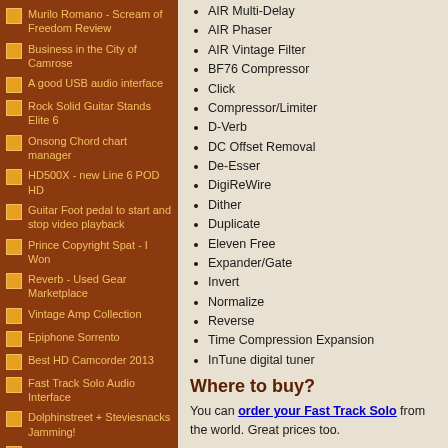Murilo Romano - Scream of Freedom Review
Business in the City of Camrose
A good USB audio interface
Rock Solid Guitar Stands Elite 6
Onsong Chord chart manager
HD500X - new Line 6 POD HD
Guitar Foot pedal to start and stop video playback
Prince Copyright Spat - I Won
Reverb - Used Gear Marketplace
Vintage Amp Collection
Epiphone Sorrento
Best HD Camcorder 2013
Fast Track Solo Audio Interface
Dolphinstreet + Steviesnacks Jamming!
Worried Life Blues
Scott Henderson Interview 2013
AIR Multi-Delay
AIR Phaser
AIR Vintage Filter
BF76 Compressor
Click
Compressor/Limiter
D-Verb
DC Offset Removal
De-Esser
DigiReWire
Dither
Duplicate
Eleven Free
Expander/Gate
Invert
Normalize
Reverse
Time Compression Expansion
InTune digital tuner
Where to buy?
You can order your Fast Track Solo from the world. Great prices too.